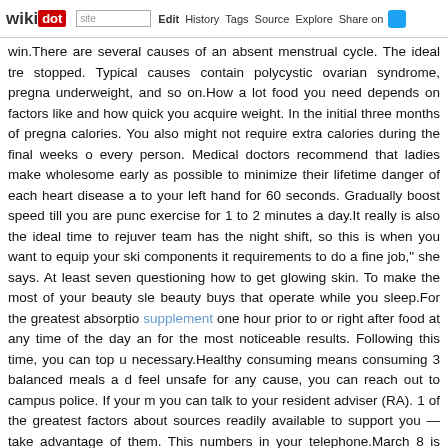wikidot | site Edit History Tags Source Explore Share on
win.There are several causes of an absent menstrual cycle. The ideal tre stopped. Typical causes contain polycystic ovarian syndrome, pregna underweight, and so on.How a lot food you need depends on factors like and how quick you acquire weight. In the initial three months of pregna calories. You also might not require extra calories during the final weeks o every person. Medical doctors recommend that ladies make wholesome early as possible to minimize their lifetime danger of each heart disease a to your left hand for 60 seconds. Gradually boost speed till you are punc exercise for 1 to 2 minutes a day.It really is also the ideal time to rejuver team has the night shift, so this is when you want to equip your ski components it requirements to do a fine job," she says. At least seven questioning how to get glowing skin. To make the most of your beauty sle beauty buys that operate while you sleep.For the greatest absorptio supplement one hour prior to or right after food at any time of the day an for the most noticeable results. Following this time, you can top u necessary.Healthy consuming means consuming 3 balanced meals a d feel unsafe for any cause, you can reach out to campus police. If your m you can talk to your resident adviser (RA). 1 of the greatest factors about sources readily available to support you — take advantage of them. This numbers in your telephone.March 8 is International Women's Day, a inspiring women in our lives. Gaining the appropriate quantity of weight develop to a healthy size. If you have any inquiries concerning exactly explanation, you can call us at our web-page. But gaining also consider overall health problems for you and your infant.Losing weight is challen before and soon after you workout. To sustain your weight loss, you shou after you do any workout Have a small light snack 1 to 2 hours before yo throughout your exercise. One flaw in the study was that in several circ recall how sick they had been feeling a number of years previously. It